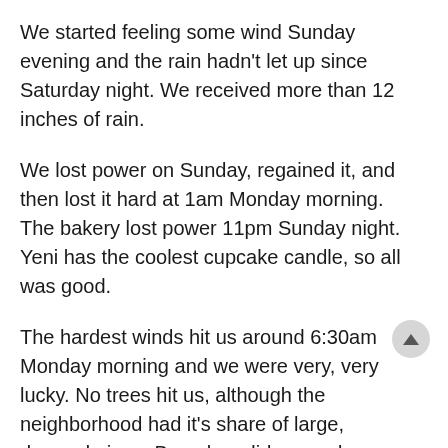We started feeling some wind Sunday evening and the rain hadn't let up since Saturday night. We received more than 12 inches of rain.
We lost power on Sunday, regained it, and then lost it hard at 1am Monday morning. The bakery lost power 11pm Sunday night. Yeni has the coolest cupcake candle, so all was good.
The hardest winds hit us around 6:30am Monday morning and we were very, very lucky. No trees hit us, although the neighborhood had it's share of large, downed pines. Branches did come down, everywhere — but none seemed to have damaged any part of the home.